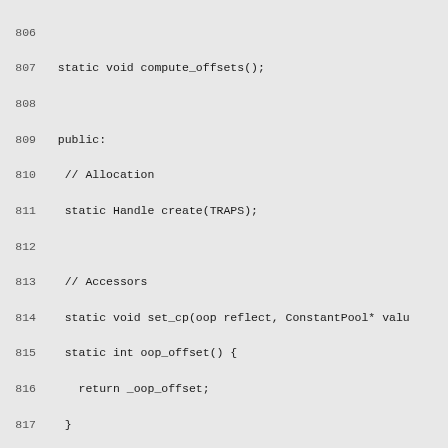Code listing lines 806-836, C++ class definitions for sun_reflect_UnsafeStaticFieldAccessorImpl including compute_offsets, create, set_cp, oop_offset, get_cp, JavaClasses, and base_offset methods.